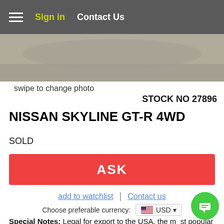Sign in | Contact Us
[Figure (photo): Partial view of a car on pavement (gravel/asphalt background), swipe to change photo UI]
swipe to change photo
STOCK NO 27896
NISSAN SKYLINE GT-R 4WD
SOLD
ASK
add to watchlist | Contact us
Choose preferable currency: USD
Special Notes: Legal for export to the USA, the most popular JDM sports car - Nissan Skyline GT-R Twin powerful and easy to tune RB26DETT engine, good